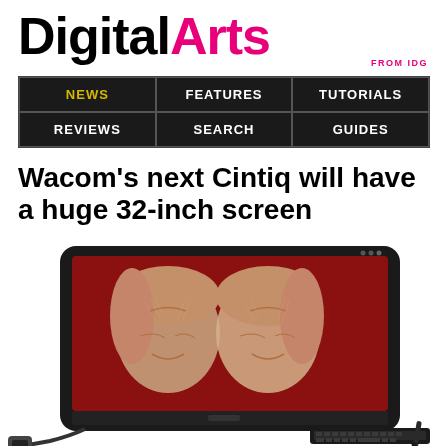DigitalArts FROM IDG
[Figure (screenshot): Navigation bar with NEWS (highlighted in yellow), FEATURES, TUTORIALS, REVIEWS, SEARCH, GUIDES on dark background]
Wacom's next Cintiq will have a huge 32-inch screen
[Figure (photo): Wacom Cintiq tablet with 32-inch screen displaying a digital illustration of two women's faces on a dark red background, with a keyboard, stylus, and device on the desk around it]